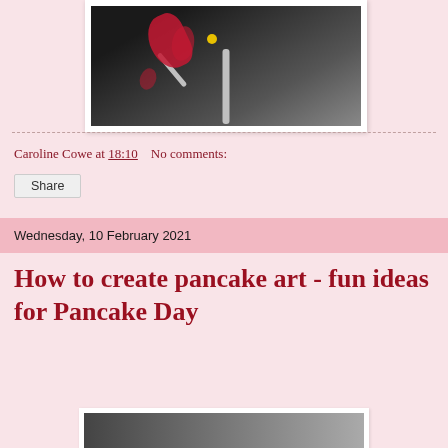[Figure (photo): Photo of a decorative art piece — a silver/white branch with red ribbon-like shapes and a small yellow element, against a dark background, framed in white]
Caroline Cowe at 18:10    No comments:
Share
Wednesday, 10 February 2021
How to create pancake art - fun ideas for Pancake Day
[Figure (photo): Partial view of a photo at the bottom of the page, appears to be related to pancake art]